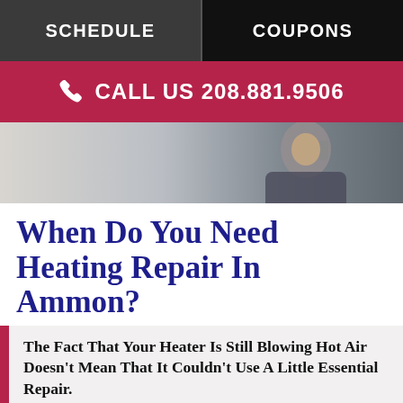SCHEDULE | COUPONS
CALL US 208.881.9506
[Figure (photo): Person talking on a phone, smiling, partial face view]
When Do You Need Heating Repair In Ammon?
The Fact That Your Heater Is Still Blowing Hot Air Doesn't Mean That It Couldn't Use A Little Essential Repair.